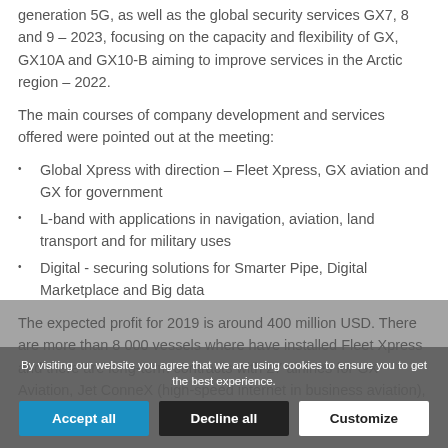generation 5G, as well as the global security services GX7, 8 and 9 – 2023, focusing on the capacity and flexibility of GX, GX10A and GX10-B aiming to improve services in the Arctic region – 2022.
The main courses of company development and services offered were pointed out at the meeting:
Global Xpress with direction – Fleet Xpress, GX aviation and GX for government
L-band with applications in navigation, aviation, land transport and for military uses
Digital - securing solutions for Smarter Pipe, Digital Marketplace and Big data
The expected profit for 2019 is around 400 million USD. There are more than 8 000 vessels where have installed Fleet Xpress and there are long-term contracts with 27 airlines for GX Aviation, Jet ConneX (high-speed internet in business aviation), business...
By visiting our website you agree that we are using cookies to ensure you to get the best experience.